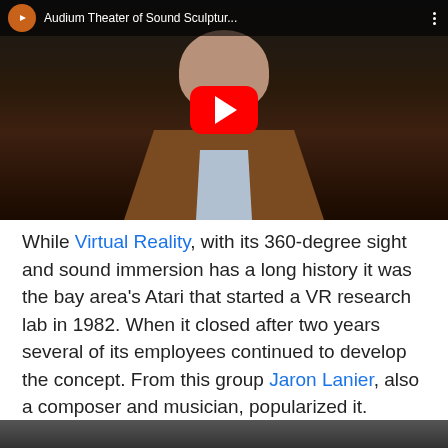[Figure (screenshot): YouTube video thumbnail showing a man in a brown jacket with the video title 'Audium Theater of Sound Sculptur...' and a red play button overlay in the center]
While Virtual Reality, with its 360-degree sight and sound immersion has a long history it was the bay area's Atari that started a VR research lab in 1982. When it closed after two years several of its employees continued to develop the concept. From this group Jaron Lanier, also a composer and musician, popularized it.
[Figure (screenshot): Bottom edge of another video thumbnail visible at the bottom of the page]